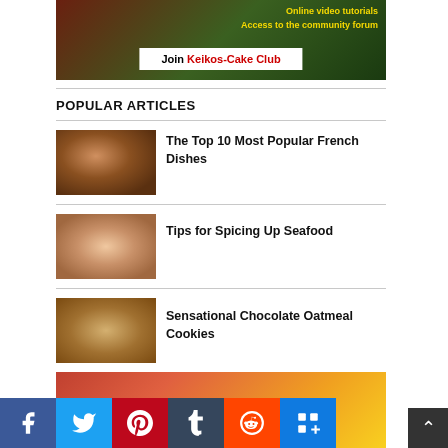[Figure (illustration): Banner ad for Keikos-Cake Club with text 'Online video tutorials', 'Access to the community forum', and 'Join Keikos-Cake Club' on white rectangle with red text]
POPULAR ARTICLES
[Figure (photo): Food photo - French dish on a decorative blue and white plate]
The Top 10 Most Popular French Dishes
[Figure (photo): Food photo - Salmon topped canapes with cream cheese]
Tips for Spicing Up Seafood
[Figure (photo): Food photo - Chocolate oatmeal cookies on a cooling rack]
Sensational Chocolate Oatmeal Cookies
[Figure (photo): Partial food photo with orange/citrus visible and red overlay with 'paleo' text]
[Figure (infographic): Social media share buttons: Facebook, Twitter, Pinterest, Tumblr, Reddit, More (+)]